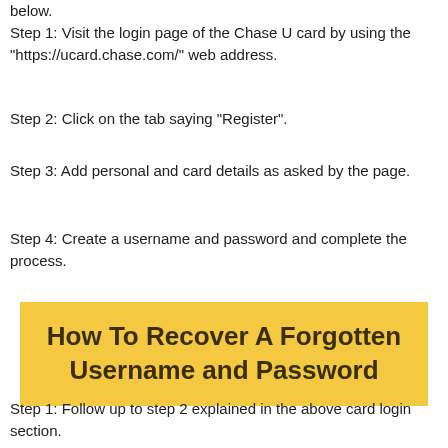below.
Step 1: Visit the login page of the Chase U card by using the "https://ucard.chase.com/" web address.
Step 2: Click on the tab saying "Register".
Step 3: Add personal and card details as asked by the page.
Step 4: Create a username and password and complete the process.
How To Recover A Forgotten Username and Password
Step 1: Follow up to step 2 explained in the above card login section.